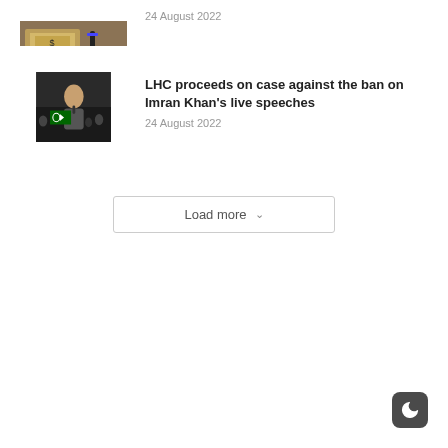[Figure (photo): Thumbnail image of dollar bills and a pen]
24 August 2022
[Figure (photo): Thumbnail image of Imran Khan speaking at a rally with Pakistani flag]
LHC proceeds on case against the ban on Imran Khan's live speeches
24 August 2022
Load more